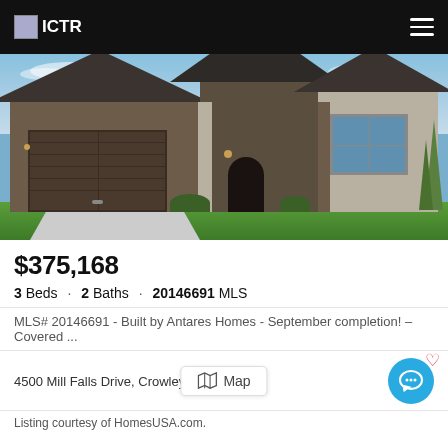ICTR
[Figure (photo): Exterior photo of a new single-story brick home with dark roof, two-car garage, arched entryway, large front window, and landscaped yard under a blue sky.]
$375,168
3 Beds · 2 Baths · 20146691 MLS
MLS# 20146691 - Built by Antares Homes - September completion! – Covered ...
4500 Mill Falls Drive, Crowley
Map
Listing courtesy of HomesUSA.com.